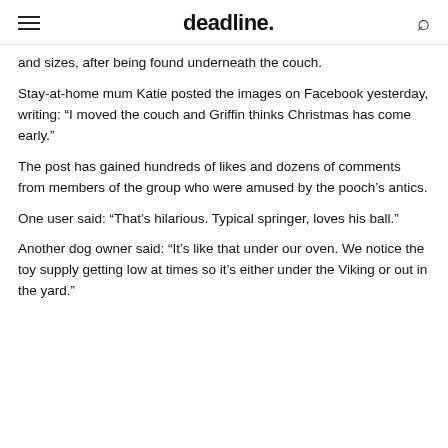deadline.
and sizes, after being found underneath the couch.
Stay-at-home mum Katie posted the images on Facebook yesterday, writing: “I moved the couch and Griffin thinks Christmas has come early.”
The post has gained hundreds of likes and dozens of comments from members of the group who were amused by the pooch’s antics.
One user said: “That’s hilarious. Typical springer, loves his ball.”
Another dog owner said: “It’s like that under our oven. We notice the toy supply getting low at times so it’s either under the Viking or out in the yard.”